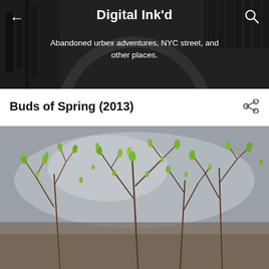Digital Ink'd
Abandoned urbex adventures, NYC street, and other places.
Buds of Spring (2013)
[Figure (photo): Close-up photograph of spring buds on thin branches, with green leaves opening, set against a blurred grey background.]